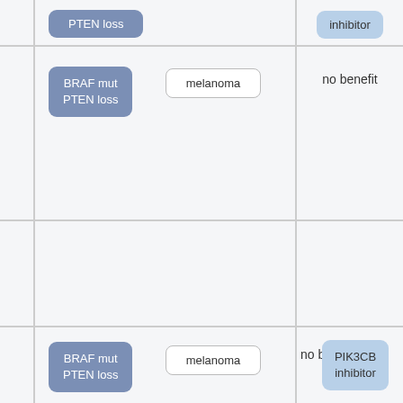[Figure (flowchart): Partial table/flowchart showing rows with BRAF mut PTEN loss biomarker combinations, melanoma cancer type, no benefit outcome, and PIK3CB inhibitor treatment. Top row shows a cropped PTEN loss badge and inhibitor badge. Middle row: BRAF mut PTEN loss + melanoma + no benefit. Bottom row: BRAF mut PTEN loss + melanoma + no benefit + PIK3CB inhibitor.]